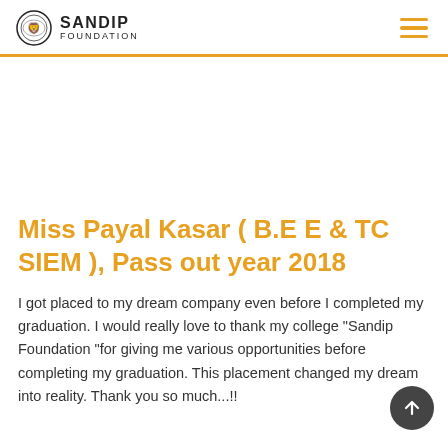SANDIP FOUNDATION
Miss Payal Kasar ( B.E E & TC SIEM ), Pass out year 2018
I got placed to my dream company even before I completed my graduation. I would really love to thank my college "Sandip Foundation "for giving me various opportunities before completing my graduation. This placement changed my dream into reality. Thank you so much...!!